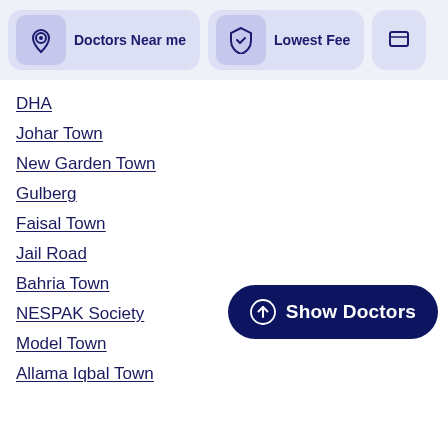[Figure (screenshot): Filter bar with 'Doctors Near me' card (location pin icon, lavender background) and 'Lowest Fee' card (shield icon, lavender background), partially visible third card on the right]
DHA
Johar Town
New Garden Town
Gulberg
Faisal Town
Jail Road
Bahria Town
NESPAK Society
Model Town
Allama Iqbal Town